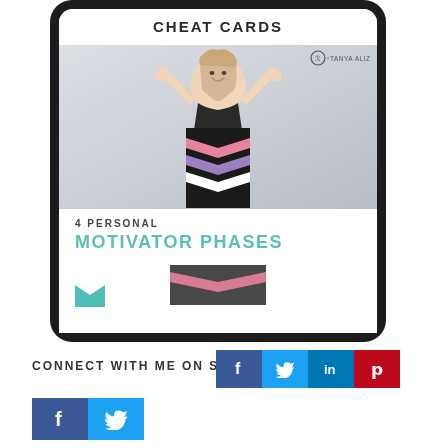[Figure (illustration): Tablet device showing a book/resource cover titled 'CHEAT CARDS' with subtitle '4 PERSONAL MOTIVATOR PHASES' by Tanya Aliz, featuring a smiling blonde woman posing with arms raised and a teal chevron design.]
CONNECT WITH ME ON SOCIAL
[Figure (infographic): Social media share buttons row: Facebook (blue), Twitter (light blue), LinkedIn (dark blue), Pinterest (red), each showing their respective icon letters]
[Figure (infographic): Second row of social media buttons: Facebook and Twitter icons, larger format]